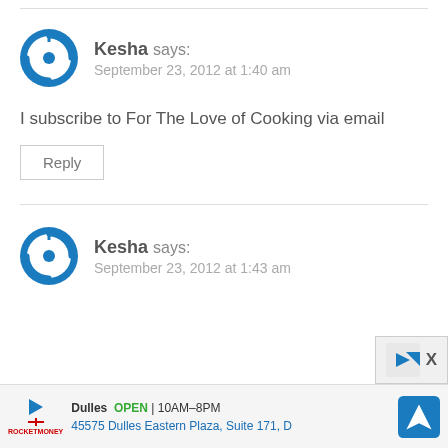Kesha says: September 23, 2012 at 1:40 am
I subscribe to For The Love of Cooking via email
Reply
Kesha says: September 23, 2012 at 1:43 am
Dulles OPEN 10AM–8PM 45575 Dulles Eastern Plaza, Suite 171, D